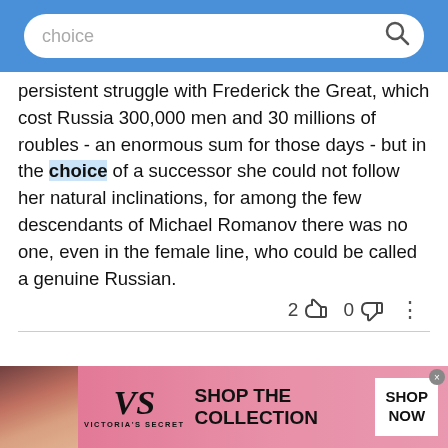choice [search bar]
persistent struggle with Frederick the Great, which cost Russia 300,000 men and 30 millions of roubles - an enormous sum for those days - but in the choice of a successor she could not follow her natural inclinations, for among the few descendants of Michael Romanov there was no one, even in the female line, who could be called a genuine Russian.
History had always been a favourite study with him, and Mably's Observations sur l'histoire appears to have had considerable influence in determining him
[Figure (screenshot): Victoria's Secret advertisement banner with model photo, VS logo, 'SHOP THE COLLECTION' text, and 'SHOP NOW' button]